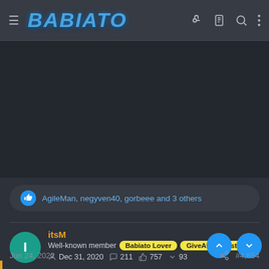BABIATO
[Figure (other): Dark ad space area]
AgileMan, negyven40, gorbeee and 3 others
itsM • Well-known member • Babiato Lover • GiveAway Master • Dec 31, 2020 • 211 • 757 • 93
Jun 24, 2022  #4,854